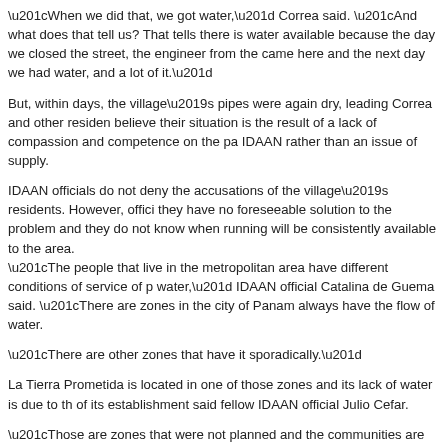“When we did that, we got water,” Correa said. “And what does that tell us? That tells there is water available because the day we closed the street, the engineer from the came here and the next day we had water, and a lot of it.”
But, within days, the village’s pipes were again dry, leading Correa and other residen believe their situation is the result of a lack of compassion and competence on the pa IDAAN rather than an issue of supply.
IDAAN officials do not deny the accusations of the village’s residents. However, offici they have no foreseeable solution to the problem and they do not know when running will be consistently available to the area. “The people that live in the metropolitan area have different conditions of service of p water,” IDAAN official Catalina de Guema said. “There are zones in the city of Panam always have the flow of water.
“There are other zones that have it sporadically.”
La Tierra Prometida is located in one of those zones and its lack of water is due to th of its establishment said fellow IDAAN official Julio Cefar.
“Those are zones that were not planned and the communities are growing without th government being able to keep up,” Cefar said. “Because of that, we cannot always c those areas with water.
“Despite that, I believe we have one of the major coverage areas of potable water ba population in all of Latin America,” Cefar said. “That’s what the statistics say.”